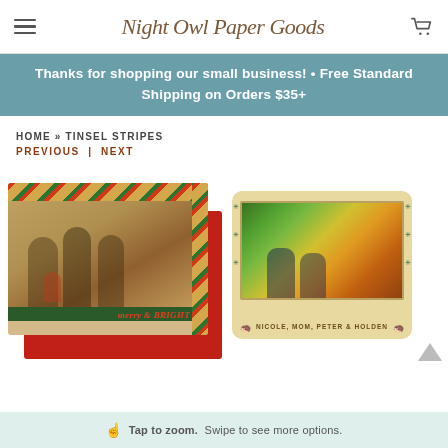Night Owl Paper Goods
Thanks for shopping our small business! • Free Standard Shipping on Orders $35+
HOME » TINSEL STRIPES
PREVIOUS | NEXT
[Figure (photo): Christmas card with diagonal candy-cane stripes border showing family photo in golden field, with 'Merry & Bright' text and green bar at bottom]
[Figure (photo): Christmas card on cream/wood background with decorative snowflake border showing two children sitting outdoors with colorful flowers, text at bottom]
Tap to zoom. Swipe to see more options.